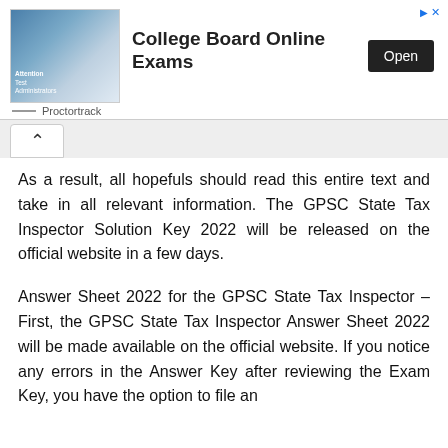[Figure (other): Advertisement banner for College Board Online Exams by Proctortrack with an Open button]
As a result, all hopefuls should read this entire text and take in all relevant information. The GPSC State Tax Inspector Solution Key 2022 will be released on the official website in a few days.
Answer Sheet 2022 for the GPSC State Tax Inspector – First, the GPSC State Tax Inspector Answer Sheet 2022 will be made available on the official website. If you notice any errors in the Answer Key after reviewing the Exam Key, you have the option to file an